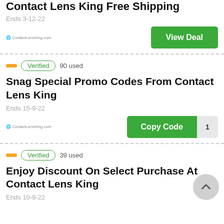Contact Lens King Free Shipping
Ends 3-12-22
View Deal
Verified  90 used
Snag Special Promo Codes From Contact Lens King
Ends 15-9-22
Copy Code  1
Verified  39 used
Enjoy Discount On Select Purchase At Contact Lens King
Ends 10-9-22